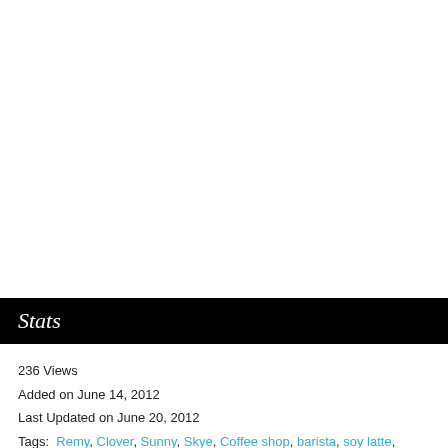Stats
236 Views
Added on June 14, 2012
Last Updated on June 20, 2012
Tags: Remy, Clover, Sunny, Skye, Coffee shop, barista, soy latte, phone number, virgin, anime, sex, tea, necklace